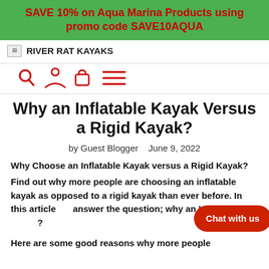SAVE 10% on Aqua Marina Products using promo code SAVE10AQUA
RIVER RAT KAYAKS
[Figure (other): Navigation icons: search, user, bag, hamburger menu]
Why an Inflatable Kayak Versus a Rigid Kayak?
by Guest Blogger   June 9, 2022
Why Choose an Inflatable Kayak versus a Rigid Kayak?
Find out why more people are choosing an inflatable kayak as opposed to a rigid kayak than ever before. In this article answer the question; why an Inflatable?
Here are some good reasons why more people